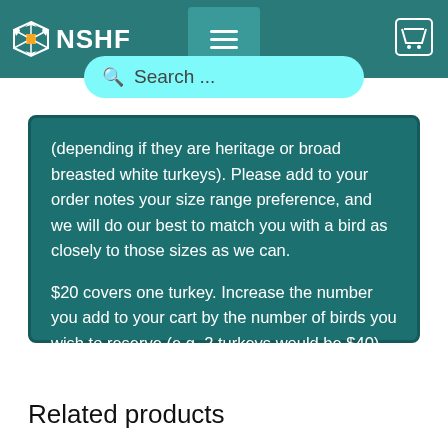NSHF
(depending if they are heritage or broad breasted white turkeys). Please add to your order notes your size range preference, and we will do our best to match you with a bird as closely to those sizes as we can.

$20 covers one turkey. Increase the number you add to your cart by the number of birds you wish to reserve (e.g. 2 turkeys would be $40). Thank you!
Related products